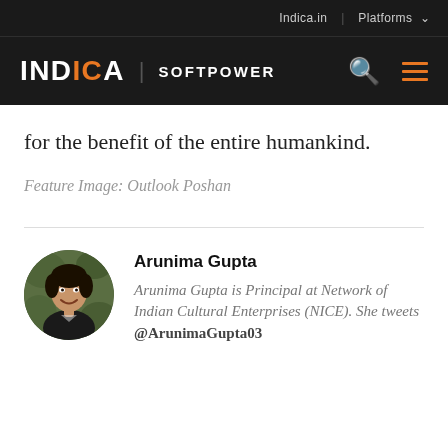Indica.in | Platforms
INDICA | SOFTPOWER
for the benefit of the entire humankind.
Feature Image: Outlook Poshan
[Figure (photo): Circular portrait photo of Arunima Gupta, a woman smiling, wearing a dark jacket, outdoors with green foliage background]
Arunima Gupta
Arunima Gupta is Principal at Network of Indian Cultural Enterprises (NICE). She tweets @ArunimaGupta03